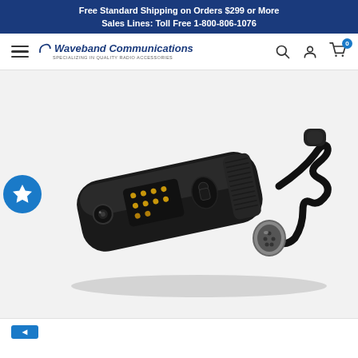Free Standard Shipping on Orders $299 or More
Sales Lines: Toll Free 1-800-806-1076
[Figure (logo): Waveband Communications logo with tagline 'Specializing in Quality Radio Accessories']
[Figure (photo): Black radio accessory adapter/connector piece with gold pins, metal connector port, and rubber cable with round plug end, photographed on white background]